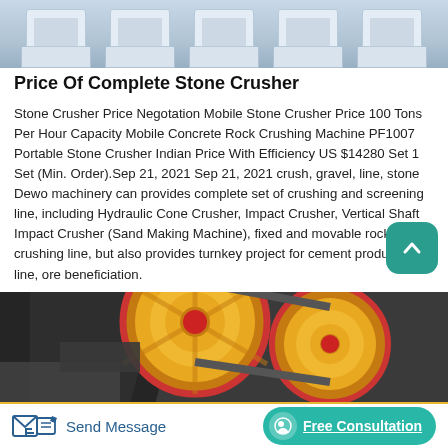[Figure (photo): Industrial stone crusher equipment bases/units lined up in a factory or outdoor setting, light grey background]
Price Of Complete Stone Crusher
Stone Crusher Price Negotation Mobile Stone Crusher Price 100 Tons Per Hour Capacity Mobile Concrete Rock Crushing Machine PF1007 Portable Stone Crusher Indian Price With Efficiency US $14280 Set 1 Set (Min. Order).Sep 21, 2021 Sep 21, 2021 crush, gravel, line, stone Dewo machinery can provides complete set of crushing and screening line, including Hydraulic Cone Crusher, Impact Crusher, Vertical Shaft Impact Crusher (Sand Making Machine), fixed and movable rock crushing line, but also provides turnkey project for cement production line, ore beneficiation.
[Figure (photo): Stone crushing machinery with large yellow/gold flywheels and dark structural components, industrial setting]
Send Message
Free Consultation